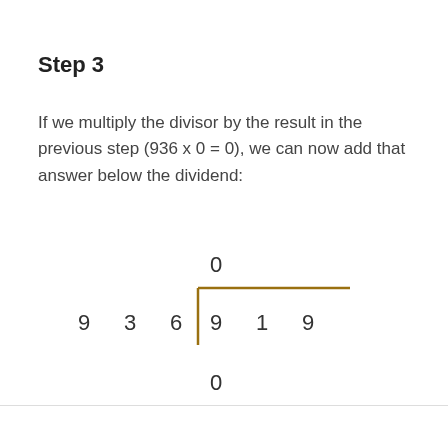Step 3
If we multiply the divisor by the result in the previous step (936 x 0 = 0), we can now add that answer below the dividend:
[Figure (math-figure): Long division diagram showing 936 dividing into 919. The quotient 0 is shown above the division bracket, and 0 is shown below the first digit of the dividend.]